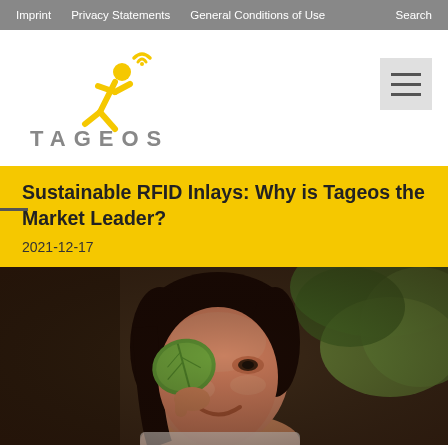Imprint   Privacy Statements   General Conditions of Use   Search
[Figure (logo): Tageos logo: yellow running figure icon with wifi signal above head, text TAGEOS in gray below]
Sustainable RFID Inlays: Why is Tageos the Market Leader?
2021-12-17
[Figure (photo): A young girl holding a green leaf in front of one eye, smiling, with green foliage in background]